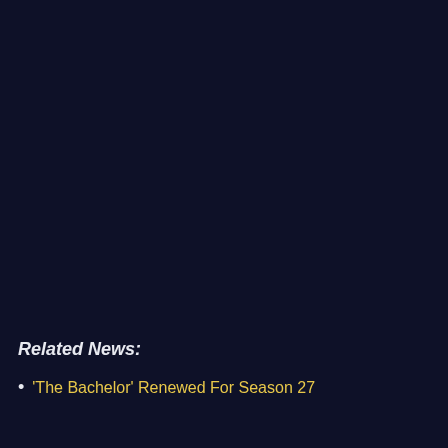Related News:
'The Bachelor' Renewed For Season 27